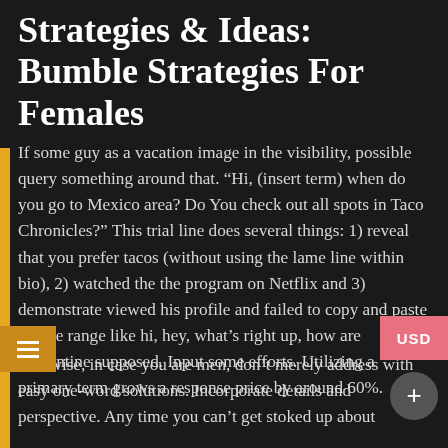Strategies & Ideas: Bumble Strategies For Females
If some guy as a vacation image in the visibility, possible query something around that. “Hi, (insert term) when do you go to Mexico area? Do You check out all spots in Taco Chronicles?” This trial line does several things: 1) reveal that you prefer tacos (without using the lame line within bio), 2) watched the the program on Netflix and 3) demonstrate viewed his profile and failed to copy and paste a lame range like hi, hey, what’s right up, how are quarantine supposed. Input some efforts. Utilizing a primary term grows a response price by around 60%.
Likewise, in case you are men, don’t merely address with easy one-word solutions. Incorporate details and perspective. Any time you can’t get stoked up about one thing, whilst replying, you haven’t located somebody who